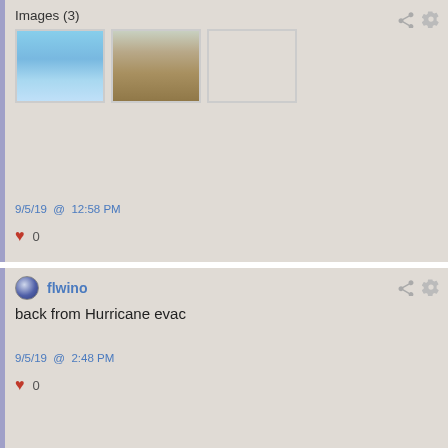Images (3)
[Figure (photo): Three thumbnail photos: coastal city aerial view, ancient ruins/fortress, beach with palm trees at sunset]
9/5/19 @ 12:58 PM
♥ 0
flwino
back from Hurricane evac
9/5/19 @ 2:48 PM
♥ 0